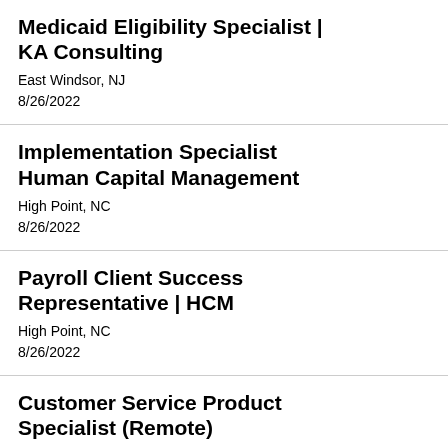Medicaid Eligibility Specialist | KA Consulting
East Windsor, NJ
8/26/2022
Implementation Specialist Human Capital Management
High Point, NC
8/26/2022
Payroll Client Success Representative | HCM
High Point, NC
8/26/2022
Customer Service Product Specialist (Remote)
High Point, NC
8/26/2022